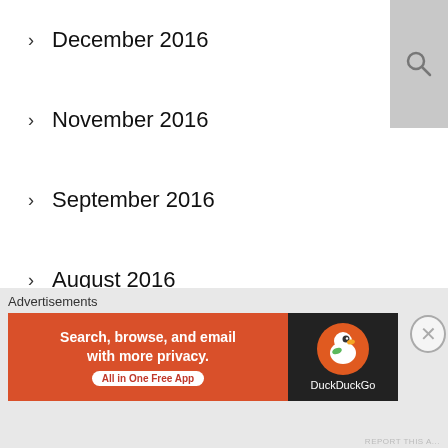December 2016
November 2016
September 2016
August 2016
July 2016
June 2016
May 2016
April 2016
March 2016
February 2016
Advertisements
[Figure (screenshot): DuckDuckGo advertisement banner: orange left side with text 'Search, browse, and email with more privacy. All in One Free App' and dark right side with DuckDuckGo logo]